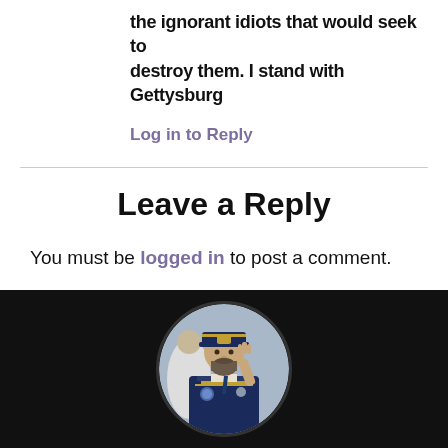the ignorant idiots that would seek to destroy them. I stand with Gettysburg
Log in to Reply
Leave a Reply
You must be logged in to post a comment.
[Figure (photo): Circular cropped portrait photo of a bearded man wearing a navy blue military/veteran cap and uniform vest with insignia, saluting or raising his hand, with other people visible in the background.]